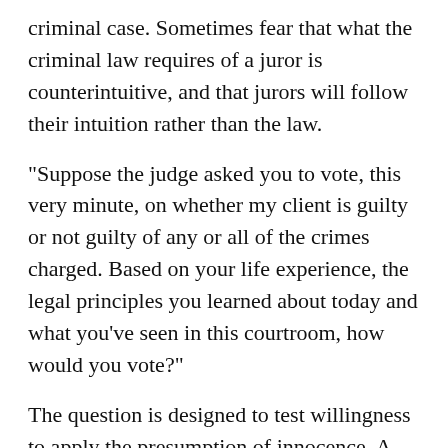criminal case. Sometimes fear that what the criminal law requires of a juror is counterintuitive, and that jurors will follow their intuition rather than the law.
"Suppose the judge asked you to vote, this very minute, on whether my client is guilty or not guilty of any or all of the crimes charged. Based on your life experience, the legal principles you learned about today and what you've seen in this courtroom, how would you vote?"
The question is designed to test willingness to apply the presumption of innocence. A vote in the absence of evidence should be "not guilty". That is axiomatic. Yet most venire people say they cannot vote because they have heard nothing. Some say they would guilty;